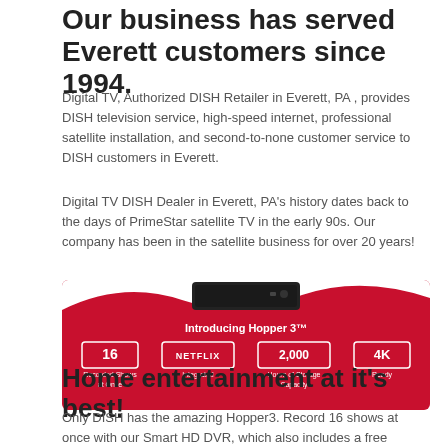Our business has served Everett customers since 1994.
Digital TV, Authorized DISH Retailer in Everett, PA , provides DISH television service, high-speed internet, professional satellite installation, and second-to-none customer service to DISH customers in Everett.
Digital TV DISH Dealer in Everett, PA's history dates back to the days of PrimeStar satellite TV in the early 90s. Our company has been in the satellite business for over 20 years!
[Figure (infographic): Red banner advertising Hopper 3 with a DISH receiver device on top, text 'Introducing Hopper 3' and four feature boxes: 16 Recorded Shows at Once, NETFLIX Integrated, 2,000 Hours of Storage Capacity, 4K Ready]
Home entertainment at it's best!
Only DISH has the amazing Hopper3. Record 16 shows at once with our Smart HD DVR, which also includes a free